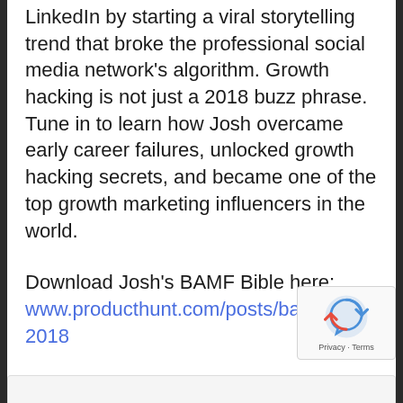LinkedIn by starting a viral storytelling trend that broke the professional social media network's algorithm. Growth hacking is not just a 2018 buzz phrase. Tune in to learn how Josh overcame early career failures, unlocked growth hacking secrets, and became one of the top growth marketing influencers in the world.
Download Josh's BAMF Bible here: www.producthunt.com/posts/bamf-bible-2018